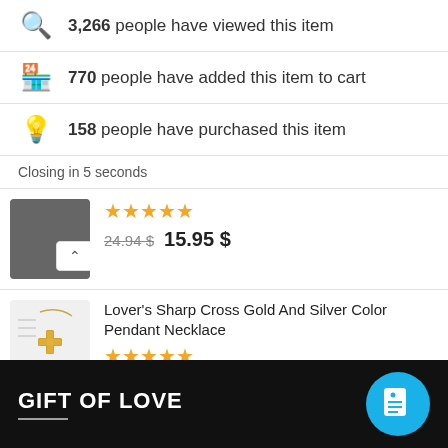3,266 people have viewed this item
770 people have added this item to cart
158 people have purchased this item
Closing in 5 seconds
24.94 $  15.95 $
Lover's Sharp Cross Gold And Silver Color Pendant Necklace
17.42 $  10.95 $
GIFT OF LOVE